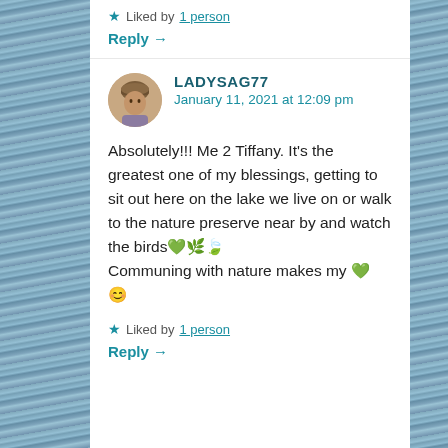★ Liked by 1 person
Reply →
LADYSAG77
January 11, 2021 at 12:09 pm
Absolutely!!! Me 2 Tiffany. It's the greatest one of my blessings, getting to sit out here on the lake we live on or walk to the nature preserve near by and watch the birds💚🌿🍃
Communing with nature makes my 💚 😊
★ Liked by 1 person
Reply →